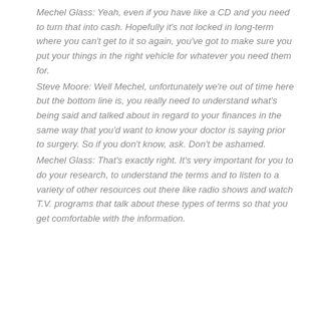Mechel Glass: Yeah, even if you have like a CD and you need to turn that into cash. Hopefully it's not locked in long-term where you can't get to it so again, you've got to make sure you put your things in the right vehicle for whatever you need them for.
Steve Moore: Well Mechel, unfortunately we're out of time here but the bottom line is, you really need to understand what's being said and talked about in regard to your finances in the same way that you'd want to know your doctor is saying prior to surgery. So if you don't know, ask. Don't be ashamed.
Mechel Glass: That's exactly right. It's very important for you to do your research, to understand the terms and to listen to a variety of other resources out there like radio shows and watch T.V. programs that talk about these types of terms so that you get comfortable with the information.